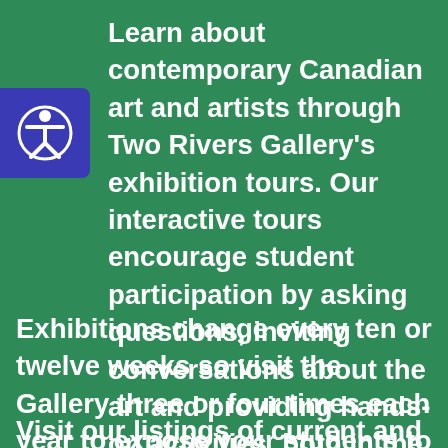Learn about contemporary Canadian art and artists through Two Rivers Gallery's exhibition tours. Our interactive tours encourage student participation by asking questions, inviting conversations about the art and providing hands-on activities, both in the exhibition space and upstairs in our studio.
Exhibitions change every ten or twelve weeks so visit the Gallery three or four times each year to expose your students to a variety of artists and art.
Visit our listings of current and upcoming